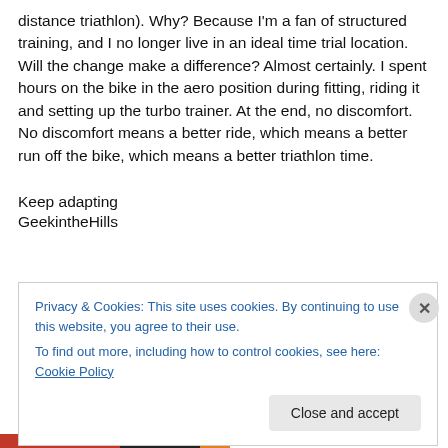distance triathlon). Why? Because I'm a fan of structured training, and I no longer live in an ideal time trial location. Will the change make a difference? Almost certainly. I spent hours on the bike in the aero position during fitting, riding it and setting up the turbo trainer. At the end, no discomfort. No discomfort means a better ride, which means a better run off the bike, which means a better triathlon time.
Keep adapting
GeekintheHills
Privacy & Cookies: This site uses cookies. By continuing to use this website, you agree to their use.
To find out more, including how to control cookies, see here: Cookie Policy
Close and accept